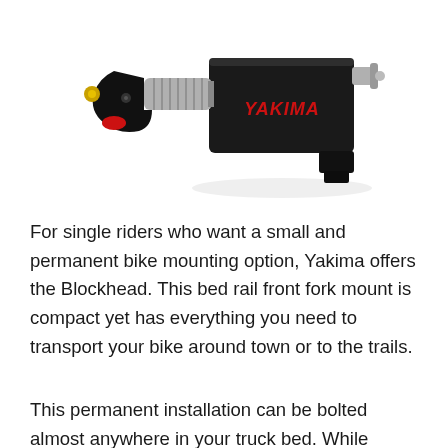[Figure (photo): A Yakima Blockhead bike mount: a compact black and silver device with red YAKIMA branding, photographed on a white background. The device has a knurled silver adjustment knob, a black body, and a red accent on the clamp arm.]
For single riders who want a small and permanent bike mounting option, Yakima offers the Blockhead. This bed rail front fork mount is compact yet has everything you need to transport your bike around town or to the trails.
This permanent installation can be bolted almost anywhere in your truck bed. While